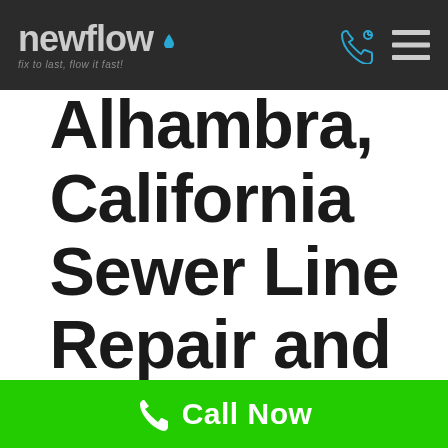newflow — fix to last, flow it fast!
Alhambra, California Sewer Line Repair and
Call Now